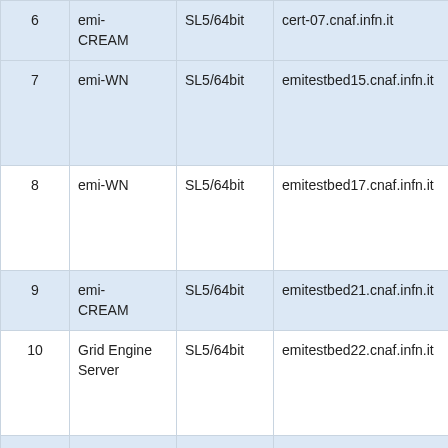| # | Component | OS | Hostname | Links |
| --- | --- | --- | --- | --- |
| 6 | emi-CREAM | SL5/64bit | cert-07.cnaf.infn.it | ... |
| 7 | emi-WN | SL5/64bit | emitestbed15.cnaf.infn.it | A S (R A |
| 8 | emi-WN | SL5/64bit | emitestbed17.cnaf.infn.it | A S (R A |
| 9 | emi-CREAM | SL5/64bit | emitestbed21.cnaf.infn.it | S |
| 10 | Grid Engine Server | SL5/64bit | emitestbed22.cnaf.infn.it | A S (R A |
| 11 | emi-WN | SL5/64bit | emitestbed12.cnaf.infn.it | A S (R |